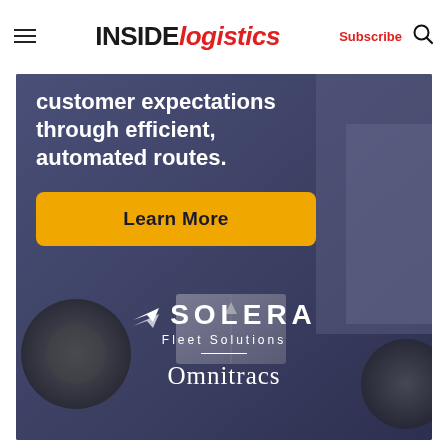INSIDE logistics | Subscribe
[Figure (photo): Advertisement for Solera Fleet Solutions / Omnitracs showing a logistics/delivery vehicle background with text 'customer expectations through efficient, automated routes.' and a yellow 'Learn More' button, Solera Fleet Solutions logo, and Omnitracs branding.]